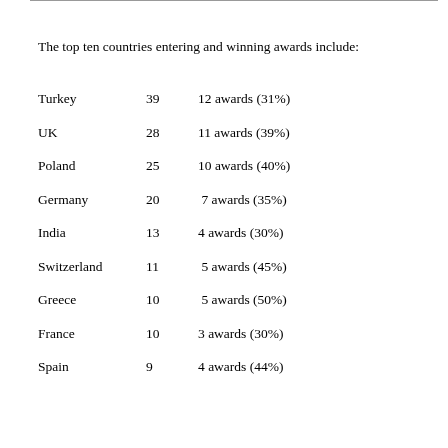The top ten countries entering and winning awards include:
Turkey    39    12 awards (31%)
UK    28    11 awards (39%)
Poland    25    10 awards (40%)
Germany    20    7 awards (35%)
India    13    4 awards (30%)
Switzerland    11    5 awards (45%)
Greece    10    5 awards (50%)
France    10    3 awards (30%)
Spain    9    4 awards (44%)